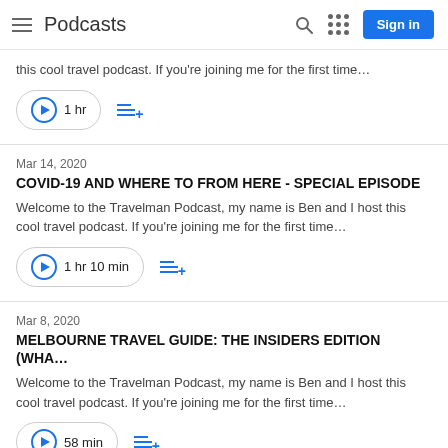Podcasts
this cool travel podcast. If you're joining me for the first time…
1 hr
Mar 14, 2020
COVID-19 AND WHERE TO FROM HERE - SPECIAL EPISODE
Welcome to the Travelman Podcast, my name is Ben and I host this cool travel podcast. If you're joining me for the first time…
1 hr 10 min
Mar 8, 2020
MELBOURNE TRAVEL GUIDE: THE INSIDERS EDITION (WHA…
Welcome to the Travelman Podcast, my name is Ben and I host this cool travel podcast. If you're joining me for the first time…
58 min